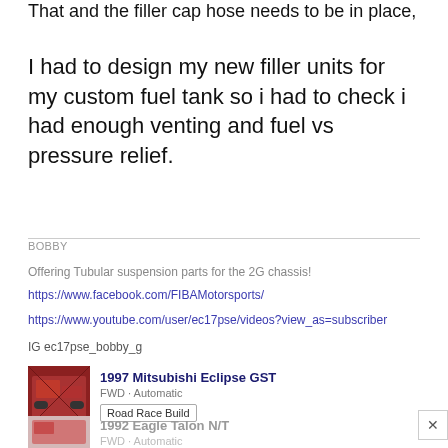That and the filler cap hose needs to be in place,
I had to design my new filler units for my custom fuel tank so i had to check i had enough venting and fuel vs pressure relief.
BOBBY
Offering Tubular suspension parts for the 2G chassis!
https://www.facebook.com/FIBAMotorsports/
https://www.youtube.com/user/ec17pse/videos?view_as=subscriber
IG ec17pse_bobby_g
[Figure (photo): Photo of red tubular suspension parts for a car]
1997 Mitsubishi Eclipse GST
FWD · Automatic
Road Race Build
[Figure (photo): Photo of a red 1992 Eagle Talon N/T car]
1992 Eagle Talon N/T
FWD · Automatic
Street Build